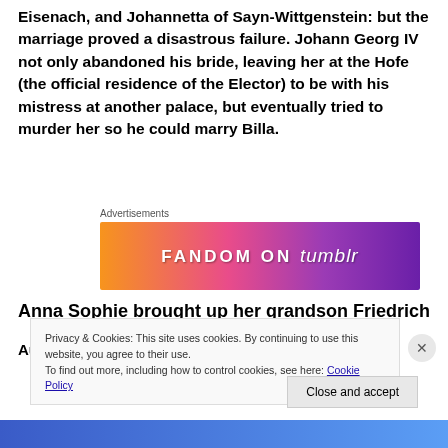Eisenach, and Johannetta of Sayn-Wittgenstein: but the marriage proved a disastrous failure. Johann Georg IV not only abandoned his bride, leaving her at the Hofe (the official residence of the Elector) to be with his mistress at another palace, but eventually tried to murder her so he could marry Billa.
[Figure (infographic): Fandom on Tumblr advertisement banner with orange to purple gradient background and white text]
Anna Sophie brought up her grandson Friedrich
August, born on October 17, 1696, the only child of
Privacy & Cookies: This site uses cookies. By continuing to use this website, you agree to their use.
To find out more, including how to control cookies, see here: Cookie Policy
Close and accept